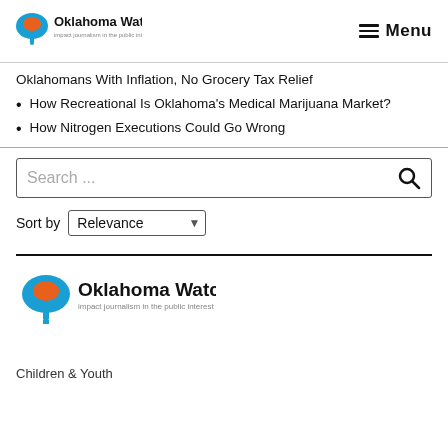Oklahoma Watch — Impact journalism in the public interest | Menu
Oklahomans With Inflation, No Grocery Tax Relief
How Recreational Is Oklahoma's Medical Marijuana Market?
How Nitrogen Executions Could Go Wrong
Search ...
Sort by Relevance
[Figure (logo): Oklahoma Watch logo — impact journalism in the public interest]
Children & Youth